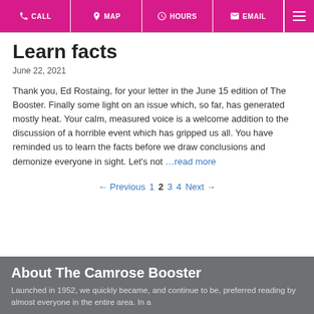CALL | MAP | HOURS | EMAIL | ≡
Learn facts
June 22, 2021
Thank you, Ed Rostaing, for your letter in the June 15 edition of The Booster. Finally some light on an issue which, so far, has generated mostly heat. Your calm, measured voice is a welcome addition to the discussion of a horrible event which has gripped us all. You have reminded us to learn the facts before we draw conclusions and demonize everyone in sight. Let's not …read more
← Previous 1 2 3 4 Next →
About The Camrose Booster
Launched in 1952, we quickly became, and continue to be, preferred reading by almost everyone in the entire area. In a